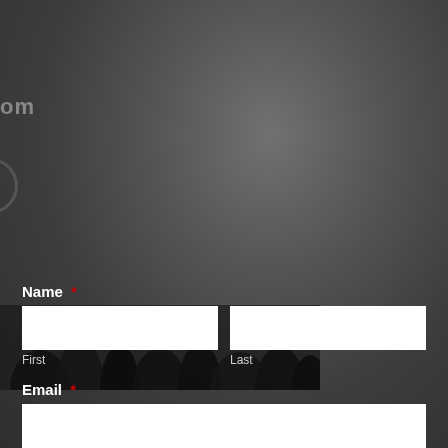om
[Figure (other): Partial circular UI element or button arc on left edge]
[Figure (photo): Dark grass/nature photo partially visible at bottom left of page]
Name *
First
Last
Email *